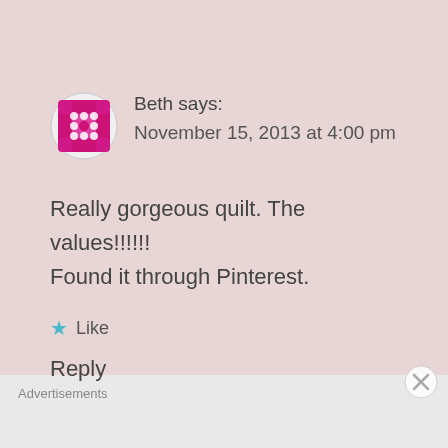Reply
[Figure (logo): Pink/magenta quilt-pattern avatar icon with circular dots pattern]
Beth says:
November 15, 2013 at 4:00 pm
Really gorgeous quilt. The values!!!!!!
Found it through Pinterest.
★ Like
Reply
Advertisements